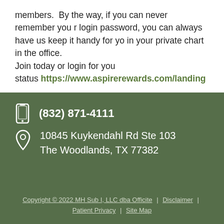members.  By the way, if you can never remember your login password, you can always have us keep it handy for yo in your private chart in the office. Join today or login for you status https://www.aspirerewards.com/landing
(832) 871-4111
10845 Kuykendahl Rd Ste 103 The Woodlands, TX 77382
Copyright © 2022 MH Sub I, LLC dba Officite | Disclaimer | Patient Privacy | Site Map